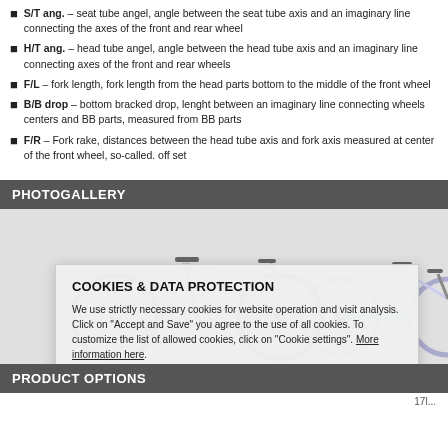S/T ang. – seat tube angel, angle between the seat tube axis and an imaginary line connecting the axes of the front and rear wheel
H/T ang. – head tube angel, angle between the head tube axis and an imaginary line connecting axes of the front and rear wheels
F/L – fork length, fork length from the head parts bottom to the middle of the front wheel
B/B drop – bottom bracked drop, lenght between an imaginary line connecting wheels centers and BB parts, measured from BB parts
F/R – Fork rake, distances between the head tube axis and fork axis measured at center of the front wheel, so-called. off set
PHOTOGALLERY
[Figure (photo): Two mountain bikes shown side by side, one silver/grey and one white with teal accents]
COOKIES & DATA PROTECTION
We use strictly necessary cookies for website operation and visit analysis. Click on "Accept and Save" you agree to the use of all cookies. To customize the list of allowed cookies, click on "Cookie settings". More information here.
PRODUCT OPTIONS
17l...